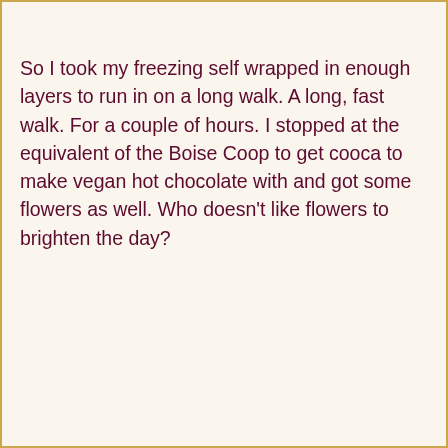So I took my freezing self wrapped in enough layers to run in on a long walk. A long, fast walk. For a couple of hours. I stopped at the equivalent of the Boise Coop to get cooca to make vegan hot chocolate with and got some flowers as well. Who doesn't like flowers to brighten the day?